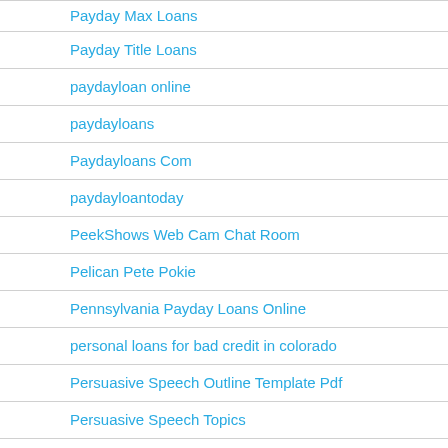Payday Max Loans
Payday Title Loans
paydayloan online
paydayloans
Paydayloans Com
paydayloantoday
PeekShows Web Cam Chat Room
Pelican Pete Pokie
Pennsylvania Payday Loans Online
personal loans for bad credit in colorado
Persuasive Speech Outline Template Pdf
Persuasive Speech Topics
Persuasive Topic